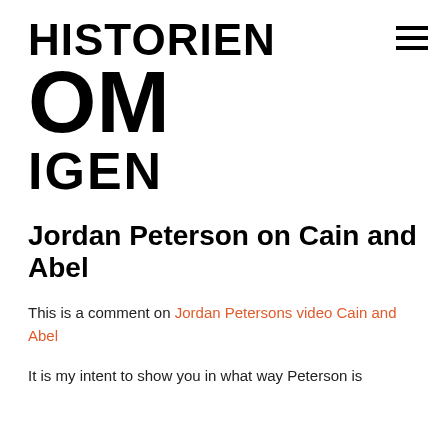[Figure (logo): Logo reading HISTORIEN OM IGEN in large bold black uppercase text]
[Figure (other): Hamburger menu icon — three horizontal lines]
Jordan Peterson on Cain and Abel
This is a comment on Jordan Petersons video Cain and Abel
It is my intent to show you in what way Peterson is